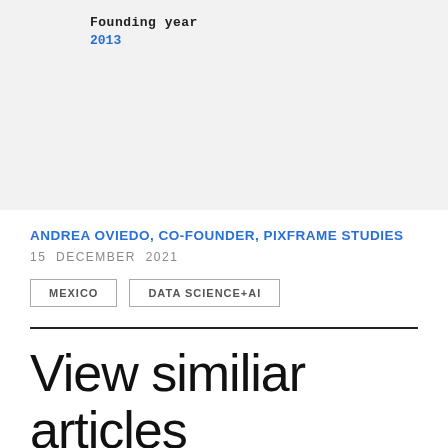Founding year
2013
ANDREA OVIEDO, CO-FOUNDER, PIXFRAME STUDIES
15 DECEMBER 2021
MEXICO
DATA SCIENCE+AI
View similiar articles